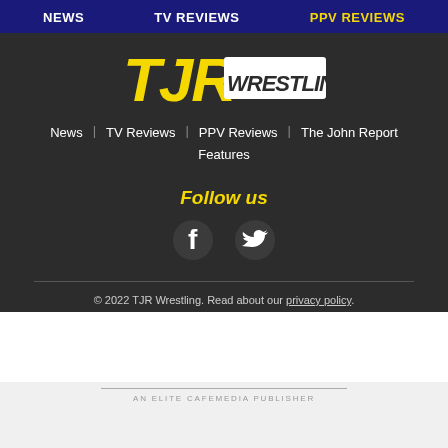NEWS   TV REVIEWS   PPV REVIEWS
[Figure (logo): TJR Wrestling logo with yellow TJR letters and white WRESTLING text on dark background]
News
TV Reviews
PPV Reviews
The John Report
Features
Follow us
[Figure (illustration): Facebook and Twitter social media icons in white]
© 2022 TJR Wrestling. Read about our privacy policy.
AN ELITE CAFEMEDIA PUBLISHER